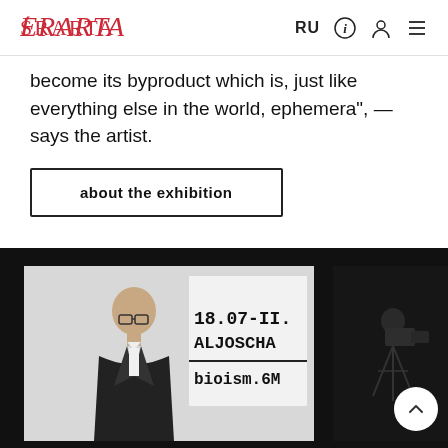ERARTA | RU
become its byproduct which is, just like everything else in the world, ephemera", — says the artist.
about the exhibition
[Figure (photo): Photo of a man in a dark suit standing in front of a white wall with exhibition signage showing '18.07-II. ALJOSCHA bioism.6...' in typewriter font, next to a partial dark image of a cameraman with a camera on a tripod]